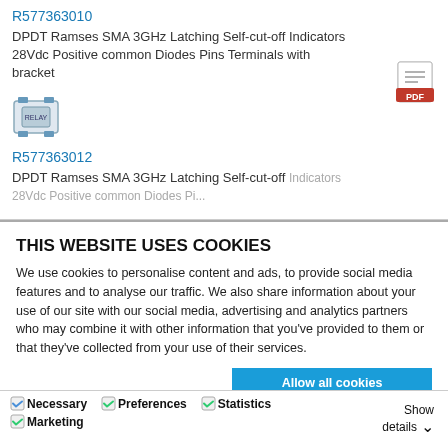R577363010
DPDT Ramses SMA 3GHz Latching Self-cut-off Indicators 28Vdc Positive common Diodes Pins Terminals with bracket
[Figure (illustration): Small product thumbnail image of a relay/switch component]
R577363012
DPDT Ramses SMA 3GHz Latching Self-cut-off Indicators 28Vdc Positive common Diodes Pi...
THIS WEBSITE USES COOKIES
We use cookies to personalise content and ads, to provide social media features and to analyse our traffic. We also share information about your use of our site with our social media, advertising and analytics partners who may combine it with other information that you've provided to them or that they've collected from your use of their services.
Allow all cookies
Allow selection
Use necessary cookies only
Necessary  Preferences  Statistics  Marketing  Show details